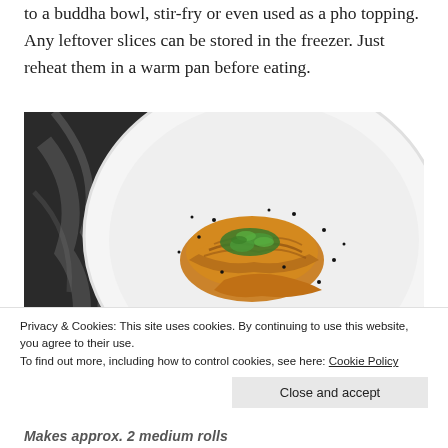to a buddha bowl, stir-fry or even used as a pho topping. Any leftover slices can be stored in the freezer. Just reheat them in a warm pan before eating.
[Figure (photo): Photo of golden-yellow sliced rolled tofu or similar food garnished with fresh herbs (parsley/cilantro) and black sesame seeds, served on a large white plate against a dark marble background.]
Privacy & Cookies: This site uses cookies. By continuing to use this website, you agree to their use.
To find out more, including how to control cookies, see here: Cookie Policy
Close and accept
Makes approx. 2 medium rolls